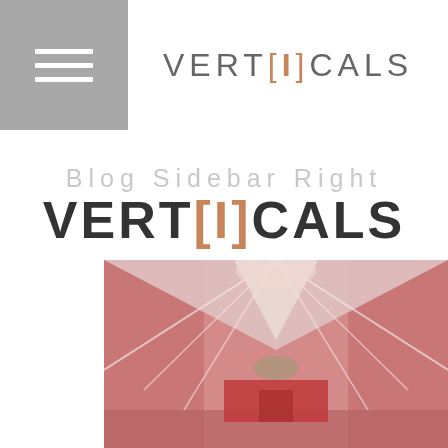VERTICALS (logo with brackets and orange I)
Blog Sidebar Right
VERTICALS
[Figure (photo): Interior architectural photograph showing a red/pink-walled corridor or hallway with a white angular roof structure forming a V-shape, with light coming from the center. Red cabinet or furniture visible in the background.]